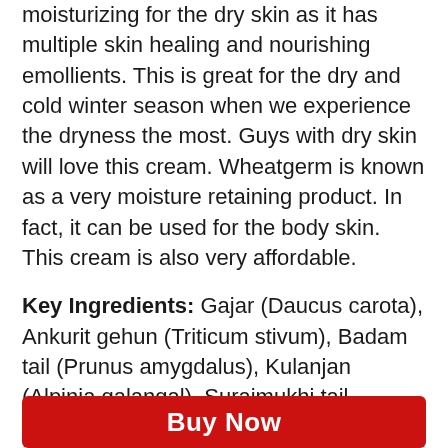moisturizing for the dry skin as it has multiple skin healing and nourishing emollients. This is great for the dry and cold winter season when we experience the dryness the most. Guys with dry skin will love this cream. Wheatgerm is known as a very moisture retaining product. In fact, it can be used for the body skin. This cream is also very affordable.
Key Ingredients: Gajar (Daucus carota), Ankurit gehun (Triticum stivum), Badam tail (Prunus amygdalus), Kulanjan (Alpinia galangal), Surajmukhi tail (Helianthus annuus),
Buy Now